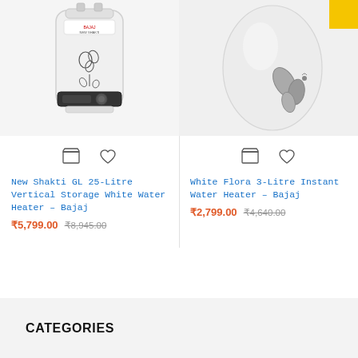[Figure (photo): New Shakti GL 25-Litre Vertical Storage White Water Heater product image - white rectangular water heater with decorative floral design]
[Figure (photo): White Flora 3-Litre Instant Water Heater product image - white rounded water heater with leaf/petal design, yellow sale badge in corner]
New Shakti GL 25-Litre Vertical Storage White Water Heater – Bajaj
₹5,799.00  ₹8,945.00
White Flora 3-Litre Instant Water Heater – Bajaj
₹2,799.00  ₹4,640.00
CATEGORIES